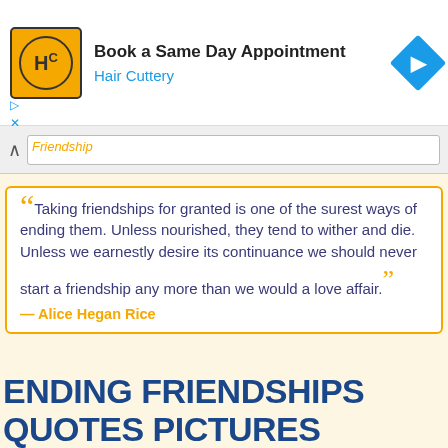[Figure (other): Hair Cuttery advertisement banner with logo, 'Book a Same Day Appointment' headline, and navigation arrow icon]
Taking friendships for granted is one of the surest ways of ending them. Unless nourished, they tend to wither and die. Unless we earnestly desire its continuance we should never start a friendship any more than we would a love affair. — Alice Hegan Rice
ENDING FRIENDSHIPS
QUOTES PICTURES
Want to see more pictures of Ending Friendships